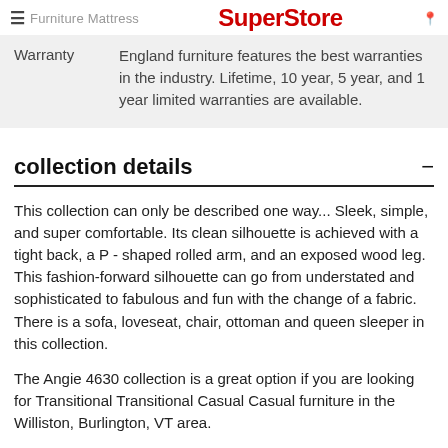Furniture Mattress SuperStore
|  |  |
| --- | --- |
| Warranty | England furniture features the best warranties in the industry. Lifetime, 10 year, 5 year, and 1 year limited warranties are available. |
collection details
This collection can only be described one way... Sleek, simple, and super comfortable. Its clean silhouette is achieved with a tight back, a P - shaped rolled arm, and an exposed wood leg. This fashion-forward silhouette can go from understated and sophisticated to fabulous and fun with the change of a fabric. There is a sofa, loveseat, chair, ottoman and queen sleeper in this collection.
The Angie 4630 collection is a great option if you are looking for Transitional Transitional Casual Casual furniture in the Williston, Burlington, VT area.
The prices are representative of this...